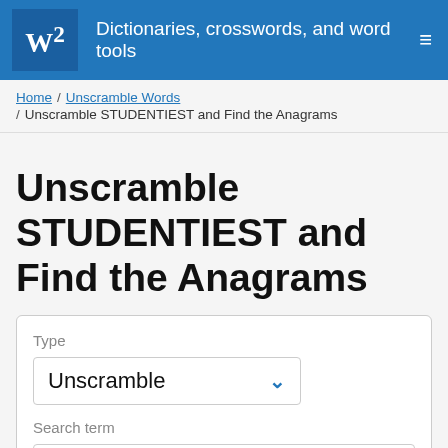W² Dictionaries, crosswords, and word tools
Home / Unscramble Words / Unscramble STUDENTIEST and Find the Anagrams
Unscramble STUDENTIEST and Find the Anagrams
Type: Unscramble (dropdown)
Search term: studentiest